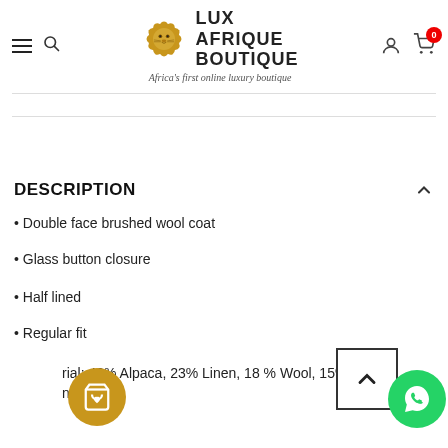LUX AFRIQUE BOUTIQUE — Africa's first online luxury boutique
DESCRIPTION
• Double face brushed wool coat
• Glass button closure
• Half lined
• Regular fit
• Material: 43% Alpaca, 23% Linen, 18% Wool, 15% Polyamide, 1% Cotton